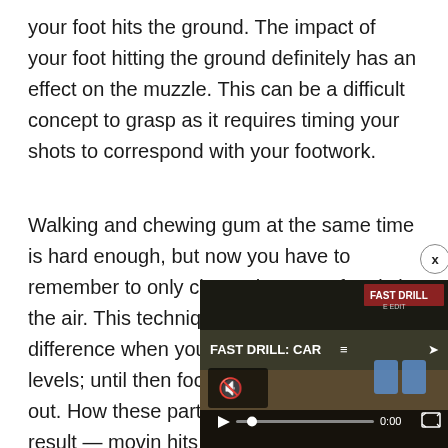your foot hits the ground. The impact of your foot hitting the ground definitely has an effect on the muzzle. This can be a difficult concept to grasp as it requires timing your shots to correspond with your footwork.
Walking and chewing gum at the same time is hard enough, but now you have to remember to only chew when your foot is in the air. This technique can make a difference when you attain higher skill levels; until then focus on smoothing things out. How these parts are put to as the end result — movin hits on target.
[Figure (screenshot): Video player overlay showing 'FAST DRILL: CAR' with FAST DRILL label at top right, muted speaker icon, play button, progress bar at 0:00, fullscreen button, and two blue target silhouettes visible in background. Close (x) button at top right of overlay.]